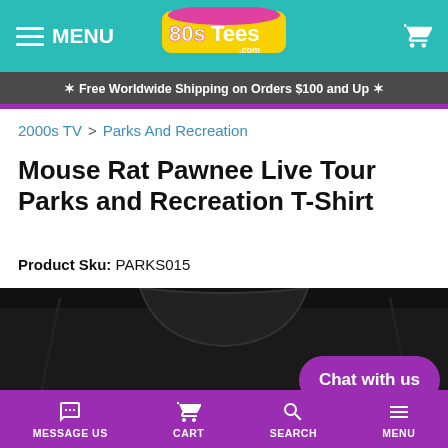MENU | 80sTees.com | Cart
✶ Free Worldwide Shipping on Orders $100 and Up ✶
2000s TV > Parks And Recreation
Mouse Rat Pawnee Live Tour Parks and Recreation T-Shirt
Product Sku: PARKS015
[Figure (photo): Black t-shirt showing collar area with 'mouse rat' text in light gray stylized font on the chest area]
Chat with us
MESSAGE US | CART | SEARCH | MENU